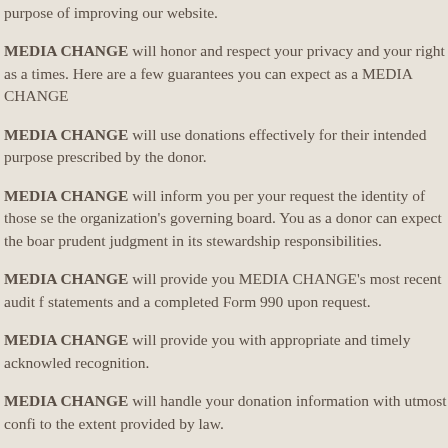purpose of improving our website.
MEDIA CHANGE will honor and respect your privacy and your right as a times. Here are a few guarantees you can expect as a MEDIA CHANGE
MEDIA CHANGE will use donations effectively for their intended purpose prescribed by the donor.
MEDIA CHANGE will inform you per your request the identity of those se the organization's governing board. You as a donor can expect the boar prudent judgment in its stewardship responsibilities.
MEDIA CHANGE will provide you MEDIA CHANGE's most recent audit f statements and a completed Form 990 upon request.
MEDIA CHANGE will provide you with appropriate and timely acknowled recognition.
MEDIA CHANGE will handle your donation information with utmost confi to the extent provided by law.
You as a donor can expect that all relationships with individuals represer organization (MEDIA CHANGE) will be professional and cordial in nature